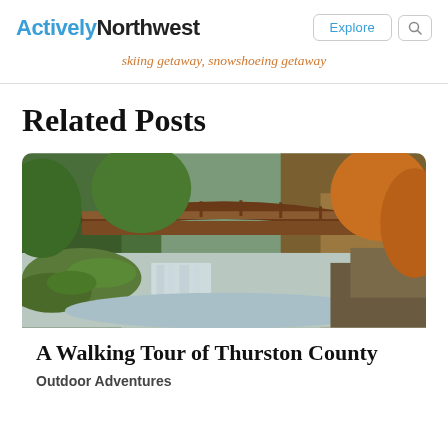ActivelyNorthwest
skiing getaway, snowshoeing getaway
Related Posts
[Figure (photo): A wooden arched bridge over a small waterfall stream surrounded by lush green moss-covered rocks and trees with autumn foliage.]
A Walking Tour of Thurston County
Outdoor Adventures